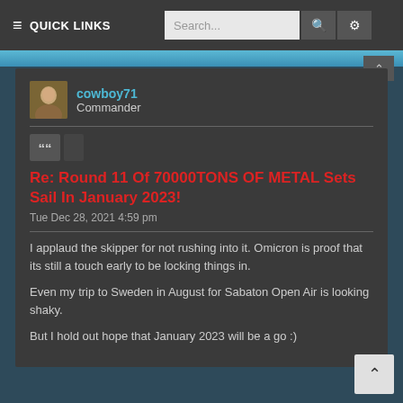≡ QUICK LINKS  Search...
cowboy71
Commander
Re: Round 11 Of 70000TONS OF METAL Sets Sail In January 2023!
Tue Dec 28, 2021 4:59 pm
I applaud the skipper for not rushing into it. Omicron is proof that its still a touch early to be locking things in.

Even my trip to Sweden in August for Sabaton Open Air is looking shaky.

But I hold out hope that January 2023 will be a go :)